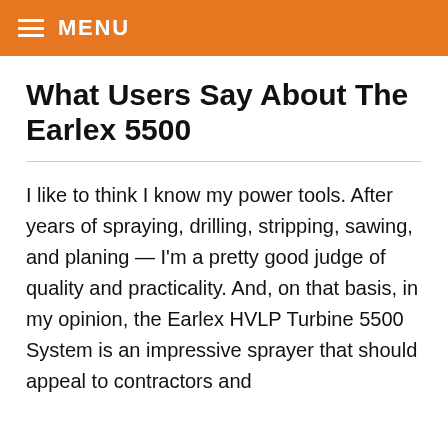MENU
What Users Say About The Earlex 5500
I like to think I know my power tools. After years of spraying, drilling, stripping, sawing, and planing — I'm a pretty good judge of quality and practicality. And, on that basis, in my opinion, the Earlex HVLP Turbine 5500 System is an impressive sprayer that should appeal to contractors and